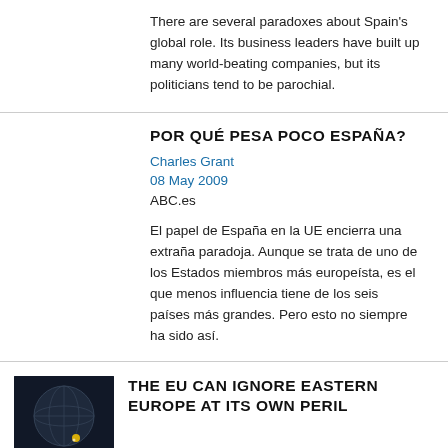There are several paradoxes about Spain's global role. Its business leaders have built up many world-beating companies, but its politicians tend to be parochial.
POR QUÉ PESA POCO ESPAÑA?
Charles Grant
08 May 2009
ABC.es
El papel de España en la UE encierra una extraña paradoja. Aunque se trata de uno de los Estados miembros más europeísta, es el que menos influencia tiene de los seis países más grandes. Pero esto no siempre ha sido así.
THE EU CAN IGNORE EASTERN EUROPE AT ITS OWN PERIL
[Figure (photo): Dark circular globe or sphere image thumbnail]